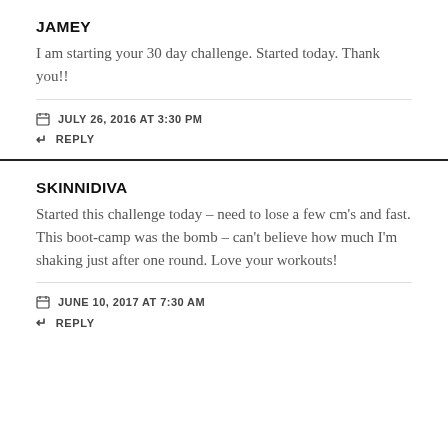JAMEY
I am starting your 30 day challenge. Started today. Thank you!!
JULY 26, 2016 AT 3:30 PM
REPLY
SKINNIDIVA
Started this challenge today – need to lose a few cm's and fast. This boot-camp was the bomb – can't believe how much I'm shaking just after one round. Love your workouts!
JUNE 10, 2017 AT 7:30 AM
REPLY